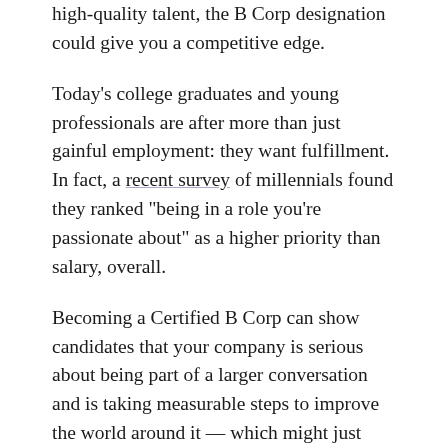high-quality talent, the B Corp designation could give you a competitive edge.
Today's college graduates and young professionals are after more than just gainful employment: they want fulfillment. In fact, a recent survey of millennials found they ranked “being in a role you’re passionate about” as a higher priority than salary, overall.
Becoming a Certified B Corp can show candidates that your company is serious about being part of a larger conversation and is taking measurable steps to improve the world around it — which might just make the difference for a job seeker deciding between two offers. A 2018 survey conducted here at Connecting Directors